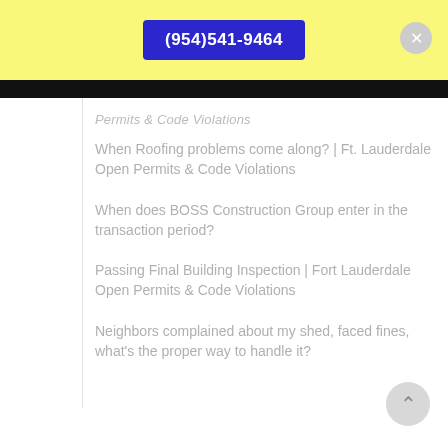(954)541-9464
Permits & Code Violations
When Roofing problems come along? | Ft. Lauderdale Open Permits & Code Violations
When does BOSS Construction Group enter in the transaction period?
Passing Final Building Inspection | Fort Lauderdale Open Permits & Code Violations
Neighbors complained about my shed, faced fines, what's the proper way to handle it?